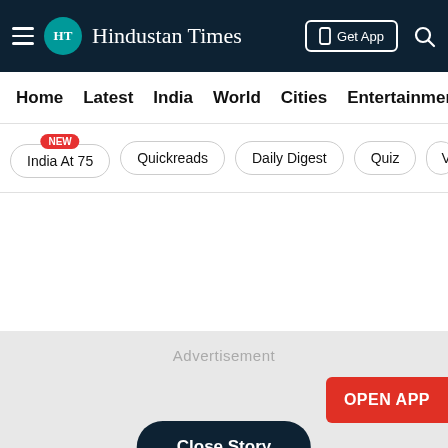Hindustan Times
Home | Latest | India | World | Cities | Entertainment
India At 75 (NEW) | Quickreads | Daily Digest | Quiz | V
[Figure (other): Advertisement placeholder area with grey background]
Advertisement
OPEN APP
Close Story